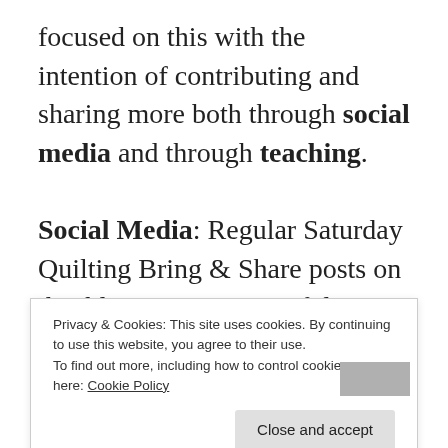focused on this with the intention of contributing and sharing more both through social media and through teaching.
Social Media: Regular Saturday Quilting Bring & Share posts on this blog gave me a useful platform to show progress with my own projects and, more importantly, to share links to helpful and interesting posts
Privacy & Cookies: This site uses cookies. By continuing to use this website, you agree to their use. To find out more, including how to control cookies, see here: Cookie Policy
@almsonfeia.neweverymorning are other ways I seek to keep in touch with patchwork